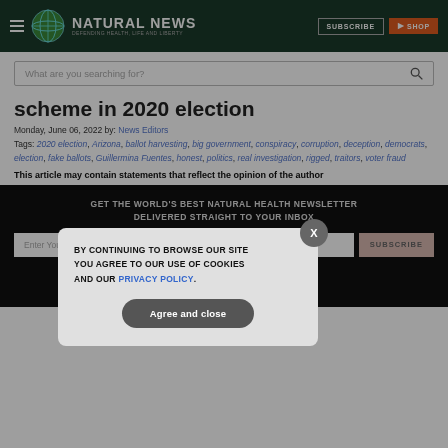NATURAL NEWS — DEFENDING HEALTH, LIFE AND LIBERTY
scheme in 2020 election
Monday, June 06, 2022 by: News Editors
Tags: 2020 election, Arizona, ballot harvesting, big government, conspiracy, corruption, deception, democrats, election, fake ballots, Guillermina Fuentes, honest, politics, real investigation, rigged, traitors, voter fraud
This article may contain statements that reflect the opinion of the author
GET THE WORLD'S BEST NATURAL HEALTH NEWSLETTER DELIVERED STRAIGHT TO YOUR INBOX
Enter Your Email Address
BY CONTINUING TO BROWSE OUR SITE YOU AGREE TO OUR USE OF COOKIES AND OUR PRIVACY POLICY.
Agree and close